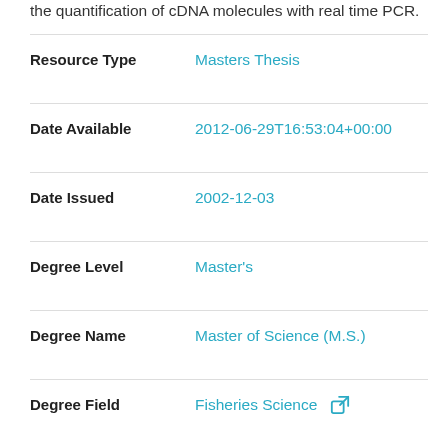the quantification of cDNA molecules with real time PCR.
| Field | Value |
| --- | --- |
| Resource Type | Masters Thesis |
| Date Available | 2012-06-29T16:53:04+00:00 |
| Date Issued | 2002-12-03 |
| Degree Level | Master's |
| Degree Name | Master of Science (M.S.) |
| Degree Field | Fisheries Science |
| Degree Grantor | Oregon State University |
| Commencement Year | 2003 |